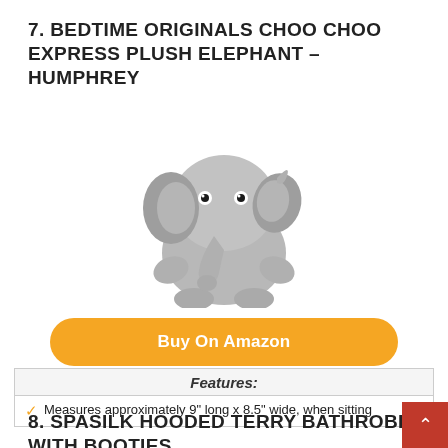7. BEDTIME ORIGINALS CHOO CHOO EXPRESS PLUSH ELEPHANT – HUMPHREY
[Figure (photo): Gray plush stuffed elephant toy (Humphrey) sitting upright, with large ears and curled trunk]
Buy On Amazon
Features:
Measures approximately 9" long x 8.5" wide, when sitting
8. SPASILK HOODED TERRY BATHROBE WITH BOOTIES